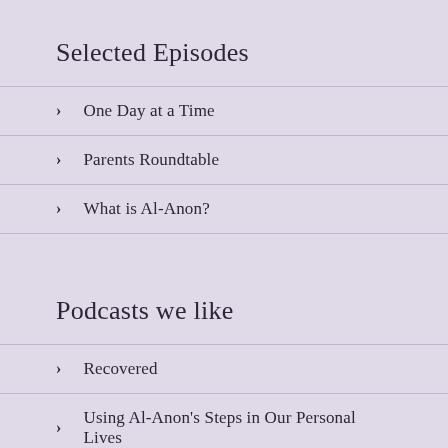Selected Episodes
One Day at a Time
Parents Roundtable
What is Al-Anon?
Podcasts we like
Recovered
Using Al-Anon's Steps in Our Personal Lives